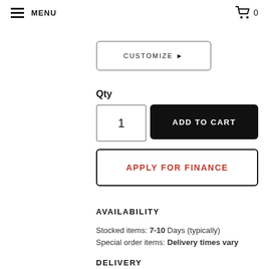MENU  0
CUSTOMIZE ▶
Qty
1
ADD TO CART
APPLY FOR FINANCE
AVAILABILITY
Stocked items: 7-10 Days (typically)
Special order items: Delivery times vary
DELIVERY